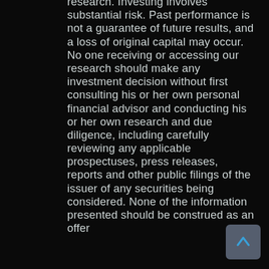research. Investing involves substantial risk. Past performance is not a guarantee of future results, and a loss of original capital may occur. No one receiving or accessing our research should make any investment decision without first consulting his or her own personal financial advisor and conducting his or her own research and due diligence, including carefully reviewing any applicable prospectuses, press releases, reports and other public filings of the issuer of any securities being considered. None of the information presented should be construed as an offer